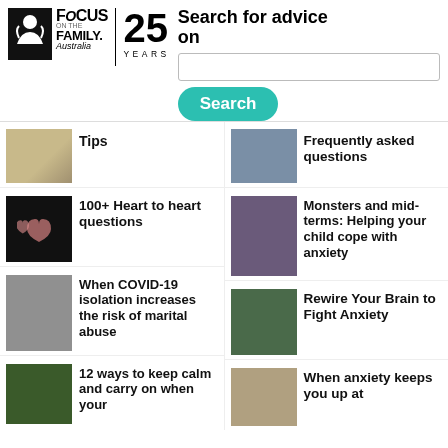[Figure (logo): Focus on the Family Australia logo with 25 Years badge]
Search for advice on
[Figure (screenshot): Search input box]
Search
[Figure (photo): Food/baked goods thumbnail]
Tips
[Figure (photo): Person outdoors thumbnail]
Frequently asked questions
[Figure (photo): Heart on dark background thumbnail]
100+ Heart to heart questions
[Figure (photo): Child looking sad thumbnail]
Monsters and mid-terms: Helping your child cope with anxiety
[Figure (photo): Woman holding paper smile thumbnail]
When COVID-19 isolation increases the risk of marital abuse
[Figure (photo): Person with green hat thumbnail]
Rewire Your Brain to Fight Anxiety
[Figure (photo): Garden neon sign thumbnail]
12 ways to keep calm and carry on when your
[Figure (photo): Woman hiding behind object thumbnail]
When anxiety keeps you up at